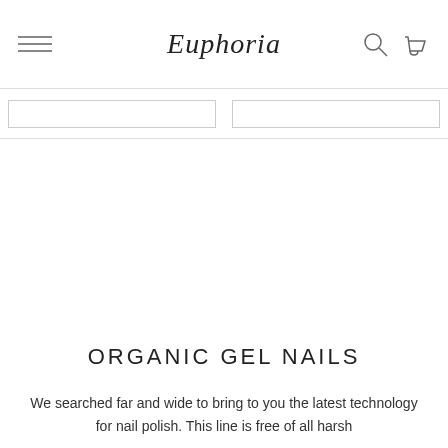Euphoria
ORGANIC GEL NAILS
We searched far and wide to bring to you the latest technology for nail polish. This line is free of all harsh